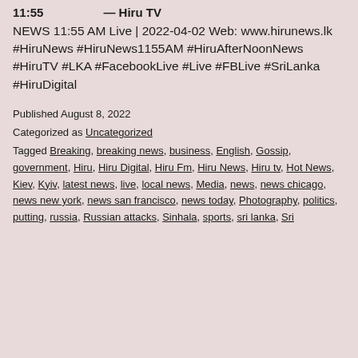NEWS 11:55 AM Live | 2022-04-02 Web: www.hirunews.lk #HiruNews #HiruNews1155AM #HiruAfterNoonNews #HiruTV #LKA #FacebookLive #Live #FBLive #SriLanka #HiruDigital
Published August 8, 2022
Categorized as Uncategorized
Tagged Breaking, breaking news, business, English, Gossip, government, Hiru, Hiru Digital, Hiru Fm, Hiru News, Hiru tv, Hot News, Kiev, Kyiv, latest news, live, local news, Media, news, news chicago, news new york, news san francisco, news today, Photography, politics, putting, russia, Russian attacks, Sinhala, sports, sri lanka, Sri